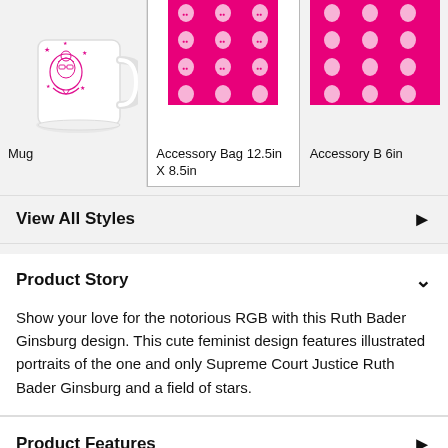[Figure (photo): Three product cards showing: a white mug with pink illustrated Ruth Bader Ginsburg design with stars; an accessory bag 12.5in x 8.5in with pink RBG pattern; a partially visible accessory bag with pink RBG pattern]
Mug
Accessory Bag 12.5in X 8.5in
Accessory B 6in
View All Styles
Product Story
Show your love for the notorious RGB with this Ruth Bader Ginsburg design. This cute feminist design features illustrated portraits of the one and only Supreme Court Justice Ruth Bader Ginsburg and a field of stars.
Product Features